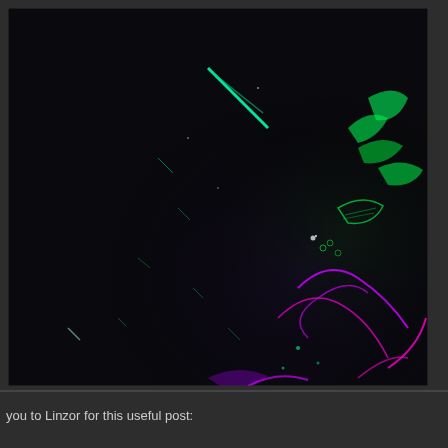[Figure (photo): Dark photograph showing neon-colored glowing elements — green and purple/magenta light trails, leaves, and abstract shapes against a very dark background. The bottom-right portion shows more detail with colorful neon-lit vegetation and light streaks, while the top-left is mostly dark with faint green diagonal streaks.]
you to Linzor for this useful post: